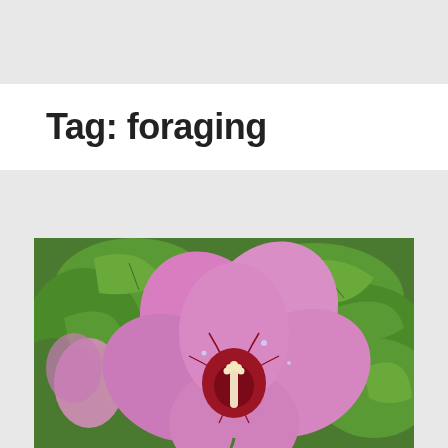Tag: foraging
[Figure (photo): Close-up photo of a large pink hibiscus flower with a deep red center and prominent staminal column, surrounded by green leaves]